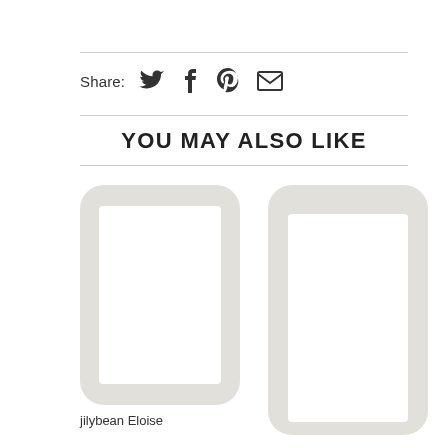Share: [twitter] [facebook] [pinterest] [email]
YOU MAY ALSO LIKE
[Figure (screenshot): Two product card images showing phone/tablet frames with white screens. Left card labeled 'jilybean Eloise']
jilybean Eloise